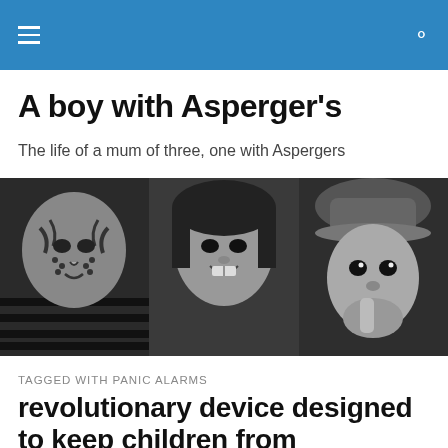A boy with Asperger's — navigation and search bar
A boy with Asperger's
The life of a mum of three, one with Aspergers
[Figure (photo): Black and white photo of three children's faces side by side: a boy with tiger face paint and a striped shirt on the left, a smiling girl in the middle, and a child wearing a hat on the right.]
TAGGED WITH PANIC ALARMS
revolutionary device designed to keep children from wandering could benefit